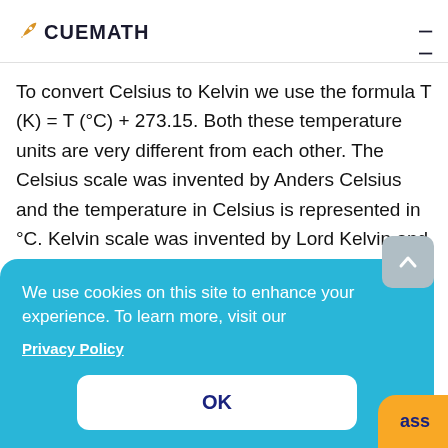CUEMATH
To convert Celsius to Kelvin we use the formula T (K) = T (°C) + 273.15. Both these temperature units are very different from each other. The Celsius scale was invented by Anders Celsius and the temperature in Celsius is represented in °C. Kelvin scale was invented by Lord Kelvin and the temperature in Kelvin is represented in K. Let us learn more about Celsius,
We use cookies on this site to enhance your experience. To learn more, visit our Privacy Policy OK